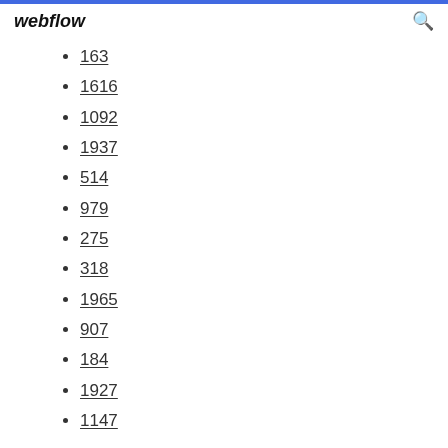webflow
163
1616
1092
1937
514
979
275
318
1965
907
184
1927
1147